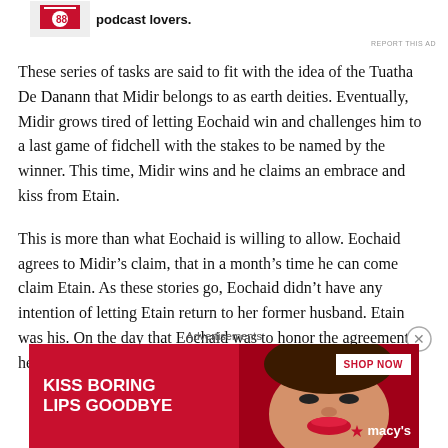[Figure (logo): Partial podcast logo with red flag icon and bold text 'podcast lovers.']
REPORT THIS AD
These series of tasks are said to fit with the idea of the Tuatha De Danann that Midir belongs to as earth deities. Eventually, Midir grows tired of letting Eochaid win and challenges him to a last game of fidchell with the stakes to be named by the winner. This time, Midir wins and he claims an embrace and kiss from Etain.
This is more than what Eochaid is willing to allow. Eochaid agrees to Midir’s claim, that in a month’s time he can come claim Etain. As these stories go, Eochaid didn’t have any intention of letting Etain return to her former husband. Etain was his. On the day that Eochaid was to honor the agreement, he had all of his warriors waiting at his castle
Advertisements
[Figure (photo): Advertisement banner: KISS BORING LIPS GOODBYE with woman's face and SHOP NOW / macy's branding on red background]